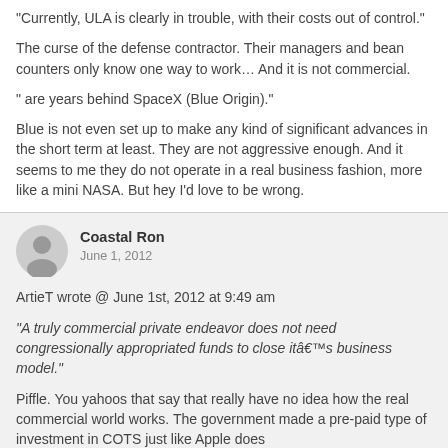"Currently, ULA is clearly in trouble, with their costs out of control."
The curse of the defense contractor. Their managers and bean counters only know one way to work… And it is not commercial.
" are years behind SpaceX (Blue Origin)."
Blue is not even set up to make any kind of significant advances in the short term at least. They are not aggressive enough. And it seems to me they do not operate in a real business fashion, more like a mini NASA. But hey I'd love to be wrong.
Coastal Ron
June 1, 2012
ArtieT wrote @ June 1st, 2012 at 9:49 am
"A truly commercial private endeavor does not need congressionally appropriated funds to close itâ€™s business model."
Piffle. You yahoos that say that really have no idea how the real commercial world works. The government made a pre-paid type of investment in COTS just like Apple does